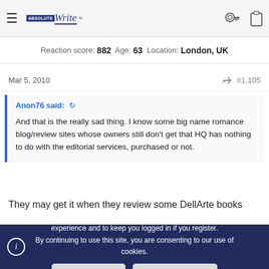≡  [Absolute Write logo]  🔑  📋
Reaction score: 882  Age: 63  Location: London, UK
Mar 5, 2010  < #1,105
Anon76 said: ↺

And that is the really sad thing. I know some big name romance blog/review sites whose owners still don't get that HQ has nothing to do with the editorial services, purchased or not.
They may get it when they review some DellArte books
This site uses cookies to help personalise content, tailor your experience and to keep you logged in if you register. By continuing to use this site, you are consenting to our use of cookies.
✓ ACCEPT   LEARN MORE...